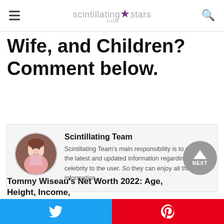scintillating★stars.com
Wife, and Children? Comment below.
[Figure (photo): Author avatar showing a baby/toddler in a circular cropped photo]
Scintillating Team
Scintillating Team's main responsibility is to provide the latest and updated information regarding any celebrity to the user. So they can enjoy all the information.
Tommy Wiseau's Net Worth 2022: Age, Height, Income,
Twitter share button | Pinterest share button